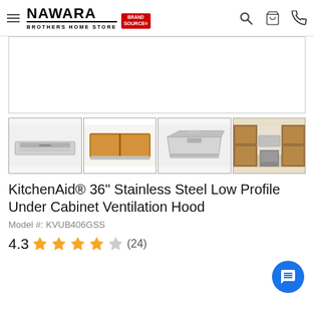NAWARA BROTHERS HOME STORE — Brand Source
[Figure (photo): Main product image area (mostly white/blank) for KitchenAid 36 inch stainless steel low profile under cabinet ventilation hood]
[Figure (photo): Thumbnail 1: Front view of the stainless steel under cabinet ventilation hood]
[Figure (photo): Thumbnail 2: Top/inside view showing wooden baffle filters]
[Figure (photo): Thumbnail 3: Angled view of the hood showing installation hardware]
[Figure (photo): Thumbnail 4: Lifestyle photo showing the hood installed in a kitchen above a range]
KitchenAid® 36" Stainless Steel Low Profile Under Cabinet Ventilation Hood
Model #: KVUB406GSS
4.3 ★★★★☆ (24)